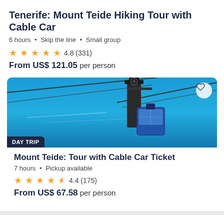Tenerife: Mount Teide Hiking Tour with Cable Car
6 hours · Skip the line · Small group
★★★★★ 4.8 (331)
From US$ 121.05 per person
[Figure (photo): Cable car tower against a bright blue sky, with cables extending outward. A badge reads 'DAY TRIP' in the lower left corner. A heart/favorite button appears in the upper right.]
Mount Teide: Tour with Cable Car Ticket
7 hours · Pickup available
★★★★½ 4.4 (175)
From US$ 67.58 per person
GetYourGuide uses cookies to give you the best possible service. If you continue browsing, you agree to the use of cookies. More details can be found in our privacy policy.